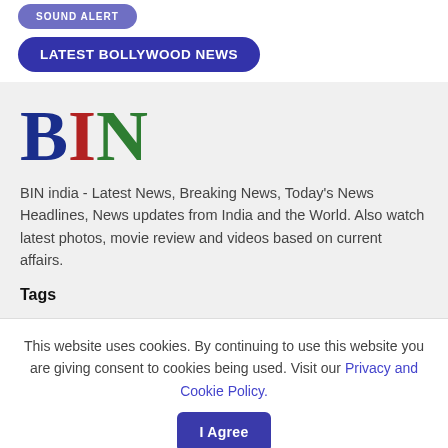[Figure (other): Partial rounded button (cut off at top) in dark blue/indigo color]
[Figure (other): Button labeled LATEST BOLLYWOOD NEWS with dark blue/indigo rounded pill shape]
[Figure (logo): BIN logo in large serif font: B in dark blue, I in dark red, N in dark green]
BIN india - Latest News, Breaking News, Today's News Headlines, News updates from India and the World. Also watch latest photos, movie review and videos based on current affairs.
Tags
This website uses cookies. By continuing to use this website you are giving consent to cookies being used. Visit our Privacy and Cookie Policy.
[Figure (other): I Agree button in dark blue/indigo color]